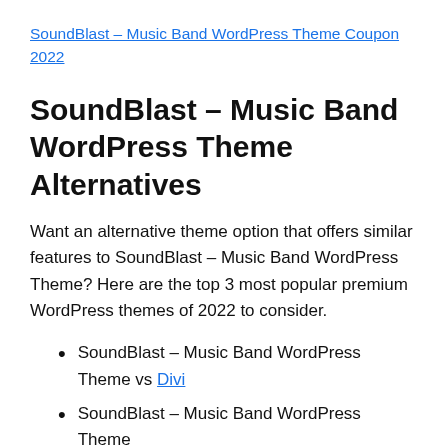SoundBlast – Music Band WordPress Theme Coupon 2022
SoundBlast – Music Band WordPress Theme Alternatives
Want an alternative theme option that offers similar features to SoundBlast – Music Band WordPress Theme? Here are the top 3 most popular premium WordPress themes of 2022 to consider.
SoundBlast – Music Band WordPress Theme vs Divi
SoundBlast – Music Band WordPress Theme